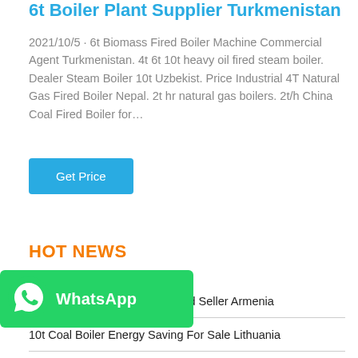6t Boiler Plant Supplier Turkmenistan
2021/10/5 · 6t Biomass Fired Boiler Machine Commercial Agent Turkmenistan. 4t 6t 10t heavy oil fired steam boiler. Dealer Steam Boiler 10t Uzbekist. Price Industrial 4T Natural Gas Fired Boiler Nepal. 2t hr natural gas boilers. 2t/h China Coal Fired Boiler for…
Get Price
HOT NEWS
20 Ton Natural Gas Boiler Brand Seller Armenia
10t Coal Boiler Energy Saving For Sale Lithuania
4t Oil Condensing Boiler Dealer Energy Saving Belarus
…ustrial 6 Ton Latvia
Cara Menjalankan Steam Boilerunisia